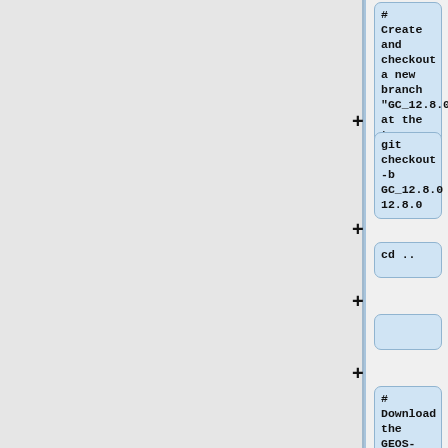[Figure (flowchart): Vertical flowchart showing git commands for setting up GEOS-Chem. Nodes connected by a vertical line with plus signs. Boxes contain: '# Create and checkout a new branch "GC_12.8.0" at the tag "12.8.0"', 'git checkout -b GC_12.8.0 12.8.0', 'cd ..', empty box, '# Download the GEOS-Chem Unit Tester, from which run directories can be generated', 'git clone https://github.com/geoschem/g']